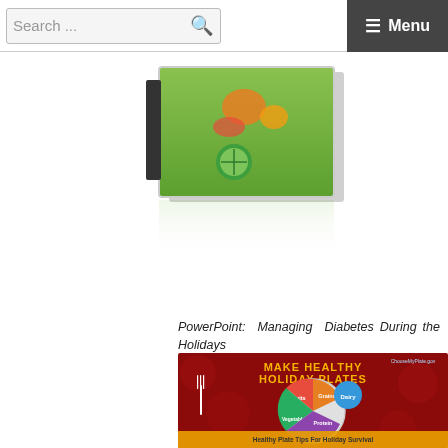Search ... ☰ Menu
[Figure (photo): PowerPoint presentation slide showing vegetables/food items on a green background, displayed as a 3D tilted slide]
PowerPoint: Managing Diabetes During the Holidays
[Figure (infographic): Make Healthy Holiday Plates infographic from ChooseMyPlate.gov showing a divided plate with Fruits, Grains, Vegetables, Protein sections and a Dairy circle. Text: Healthy Plate Tips For Holiday Survival. Fill appetizer plates with vegetables. Make a healthy plate for lunch and dinner.]